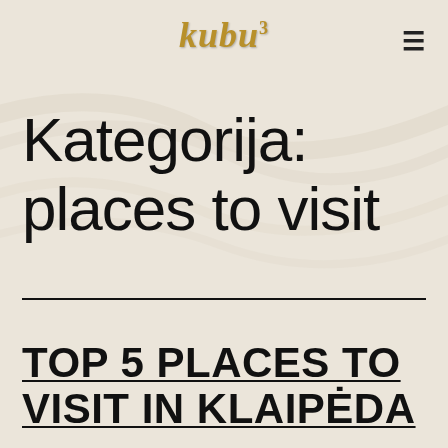kubu³
Kategorija: places to visit
TOP 5 PLACES TO VISIT IN KLAIPĖDA